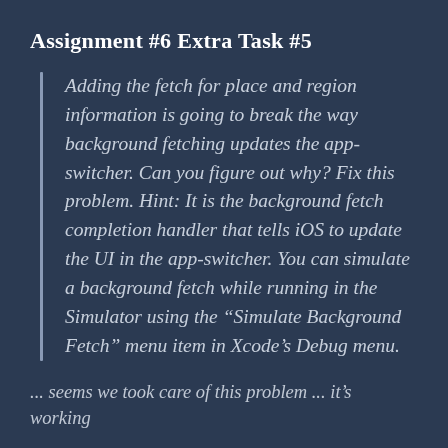Assignment #6 Extra Task #5
Adding the fetch for place and region information is going to break the way background fetching updates the app-switcher. Can you figure out why? Fix this problem. Hint: It is the background fetch completion handler that tells iOS to update the UI in the app-switcher. You can simulate a background fetch while running in the Simulator using the “Simulate Background Fetch” menu item in Xcode’s Debug menu.
... seems we took care of this problem ... it’s working